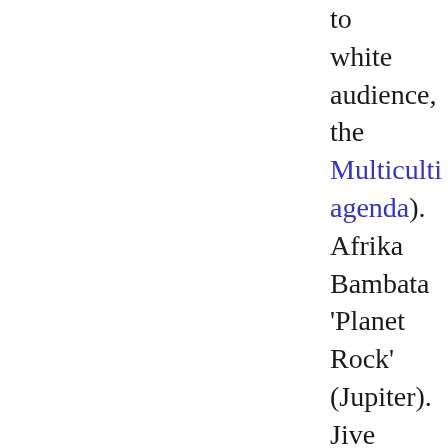to white audience, the Multiculti agenda). Afrika Bambata 'Planet Rock' (Jupiter). Jive Records, Kool Moe Dee.